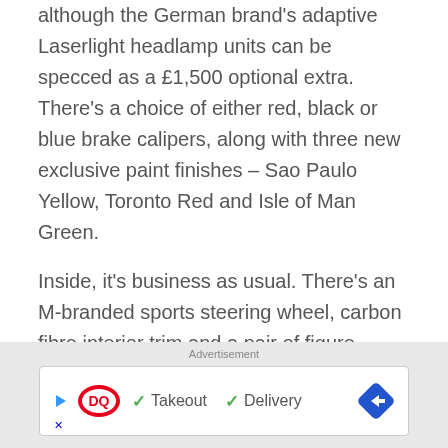although the German brand's adaptive Laserlight headlamp units can be specced as a £1,500 optional extra. There's a choice of either red, black or blue brake calipers, along with three new exclusive paint finishes – Sao Paulo Yellow, Toronto Red and Isle of Man Green.

Inside, it's business as usual. There's an M-branded sports steering wheel, carbon fibre interior trim and a pair of figure-hugging black leather sports seats, which are both electrically adjustable and heated. BMW also offers a pair of lightweight carbon fibre bucket seats as £3,400 optional extra, which save 9.6kgs over the car's standard
Advertisement
[Figure (other): Dairy Queen advertisement banner showing DQ logo with checkmarks for Takeout and Delivery options, and a blue navigation arrow icon on the right.]